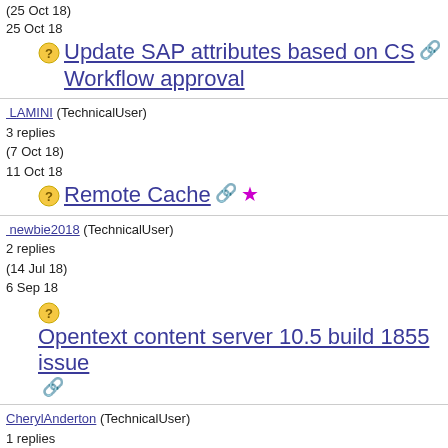(25 Oct 18)
25 Oct 18
Update SAP attributes based on CS Workflow approval
LAMINI (TechnicalUser)
3 replies
(7 Oct 18)
11 Oct 18
Remote Cache
newbie2018 (TechnicalUser)
2 replies
(14 Jul 18)
6 Sep 18
Opentext content server 10.5 build 1855 issue
CherylAnderton (TechnicalUser)
1 replies
(16 Aug 18)
16 Aug 18
Help Creating an Oracle Report
KidKB (TechnicalUser)
0 replies
(15 Aug 18)